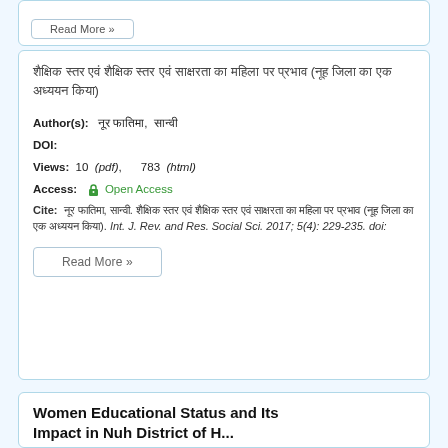[Hindi script title — article in Hindi about educational status]
Author(s): [Hindi author names]
DOI:
Views: 10 (pdf), 783 (html)
Access: Open Access
Cite: [Hindi citation]. Int. J. Rev. and Res. Social Sci. 2017; 5(4): 229-235. doi:
Read More »
Women Educational Status and Its Impact in Nuh District of H...